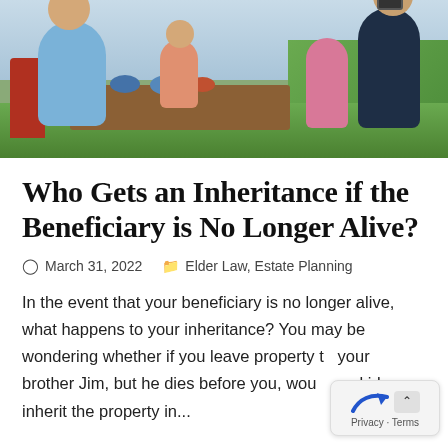[Figure (photo): Outdoor family gathering around a table, people laughing and taking a selfie in a garden setting]
Who Gets an Inheritance if the Beneficiary is No Longer Alive?
March 31, 2022   Elder Law, Estate Planning
In the event that your beneficiary is no longer alive, what happens to your inheritance? You may be wondering whether if you leave property to your brother Jim, but he dies before you, wou kids inherit the property in...